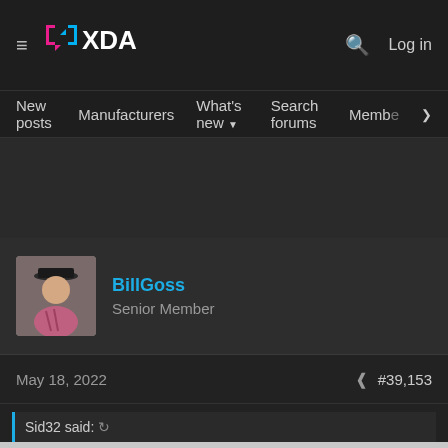[Figure (screenshot): XDA Developers forum page screenshot showing navigation bar with XDA logo, hamburger menu, search icon, Log in button]
New posts  Manufacturers  What's new  Search forums  Membe  >
[Figure (photo): Avatar photo of user BillGoss, a person wearing a hat]
BillGoss
Senior Member
May 18, 2022  #39,153
Sid32 said:
[Figure (screenshot): Disney Bundle advertisement banner showing Hulu, Disney+, ESPN+ logos with text GET THE DISNEY BUNDLE. Incl. Hulu (ad-supported) or Hulu (No Ads). Access content from each service separately. ©2021 Disney and its related entities.]